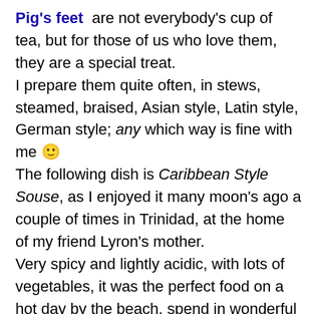Pig's feet are not everybody's cup of tea, but for those of us who love them, they are a special treat. I prepare them quite often, in stews, steamed, braised, Asian style, Latin style, German style; any which way is fine with me 🙂 The following dish is Caribbean Style Souse, as I enjoyed it many moon's ago a couple of times in Trinidad, at the home of my friend Lyron's mother. Very spicy and lightly acidic, with lots of vegetables, it was the perfect food on a hot day by the beach, spend in wonderful company and washed down with a few bottles of Carib Beer – nothing else was needed in those moments to feel happy and content 🙂 These meals (and times) are now in the distant past; all that's left are the happy memories, vividly recalled by preparing the meals we enjoyed together then – Lyron and